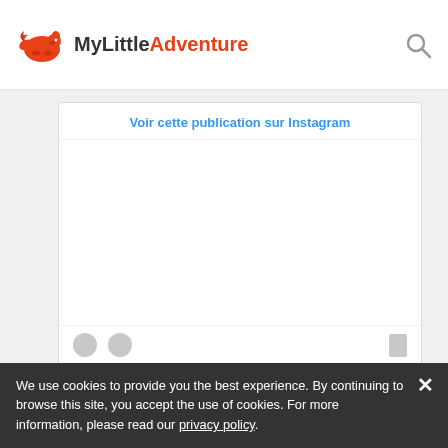MyLittleAdventure
[Figure (screenshot): Instagram embed card showing 'Voir cette publication sur Instagram' link, placeholder content area with like/comment/bookmark icons, two gray loading bar placeholders, and caption text 'Une publication partagée par Gloria Apara | Nomadic ...']
Une publication partagée par Gloria Apara | Nomadic ...
Otssworld
We use cookies to provide you the best experience. By continuing to browse this site, you accept the use of cookies. For more information, please read our privacy policy.